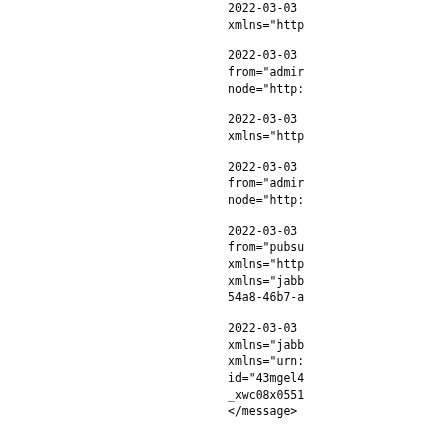2022-03-03
xmlns="http
2022-03-03
from="admin
node="http:
2022-03-03
xmlns="http
2022-03-03
from="admin
node="http:
2022-03-03
from="pubsu
xmlns="http
xmlns="jabb
54a8-46b7-a
2022-03-03
xmlns="jabb
xmlns="urn:
id="43mgel4
_xwc08x0551
</message>